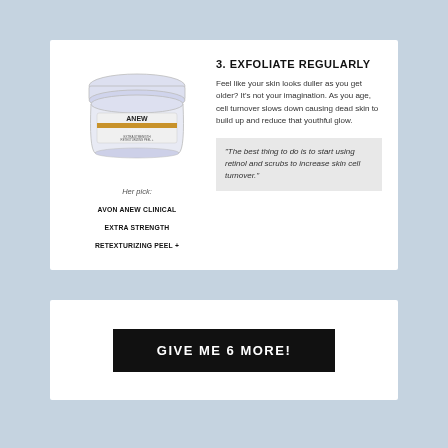[Figure (photo): ANEW Clinical cream jar product photo]
Her pick:
AVON ANEW CLINICAL EXTRA STRENGTH RETEXTURIZING PEEL +
3. EXFOLIATE REGULARLY
Feel like your skin looks duller as you get older? It's not your imagination. As you age, cell turnover slows down causing dead skin to build up and reduce that youthful glow.
"The best thing to do is to start using retinol and scrubs to increase skin cell turnover."
GIVE ME 6 MORE!